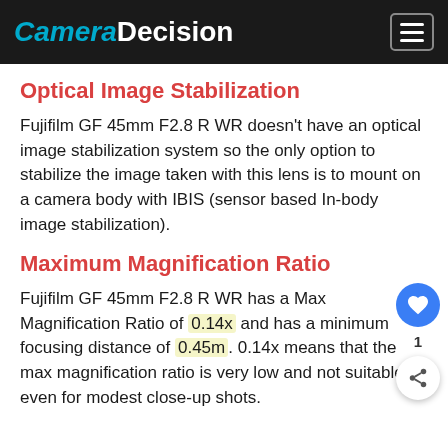CameraDecision
Optical Image Stabilization
Fujifilm GF 45mm F2.8 R WR doesn't have an optical image stabilization system so the only option to stabilize the image taken with this lens is to mount on a camera body with IBIS (sensor based In-body image stabilization).
Maximum Magnification Ratio
Fujifilm GF 45mm F2.8 R WR has a Max Magnification Ratio of 0.14x and has a minimum focusing distance of 0.45m. 0.14x means that the max magnification ratio is very low and not suitable even for modest close-up shots.